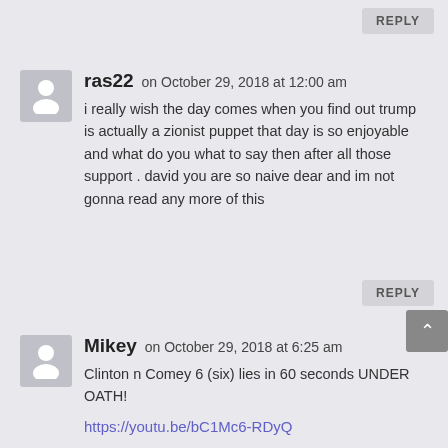REPLY
ras22 on October 29, 2018 at 12:00 am
i really wish the day comes when you find out trump is actually a zionist puppet that day is so enjoyable and what do you what to say then after all those support . david you are so naive dear and im not gonna read any more of this
REPLY
Mikey on October 29, 2018 at 6:25 am
Clinton n Comey 6 (six) lies in 60 seconds UNDER OATH!
https://youtu.be/bC1Mc6-RDyQ